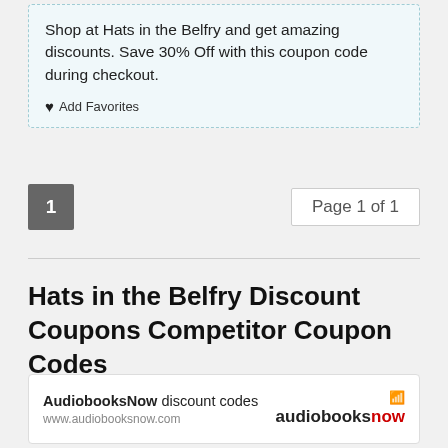Shop at Hats in the Belfry and get amazing discounts. Save 30% Off with this coupon code during checkout.
♥ Add Favorites
1
Page 1 of 1
Hats in the Belfry Discount Coupons Competitor Coupon Codes
AudiobooksNow discount codes
www.audiobooksnow.com